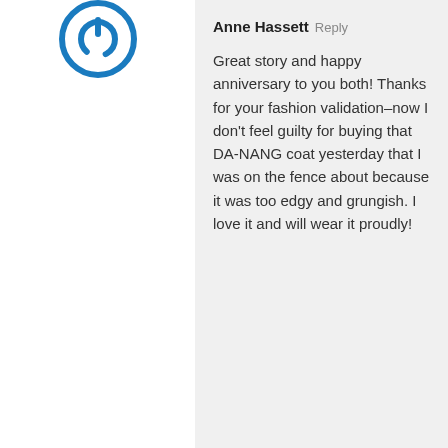[Figure (logo): Blue circular power/user icon avatar]
Anne Hassett Reply
Great story and happy anniversary to you both! Thanks for your fashion validation–now I don't feel guilty for buying that DA-NANG coat yesterday that I was on the fence about because it was too edgy and grungish. I love it and will wear it proudly!